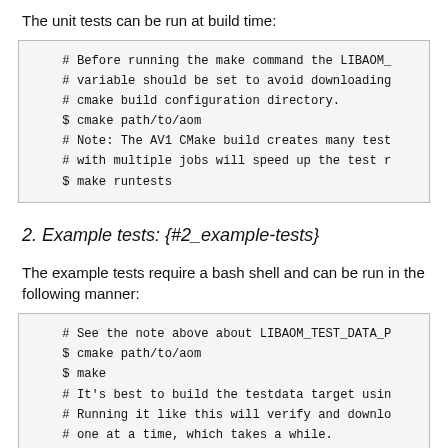The unit tests can be run at build time:
# Before running the make command the LIBAOM_
# variable should be set to avoid downloading
# cmake build configuration directory.
$ cmake path/to/aom
# Note: The AV1 CMake build creates many test
# with multiple jobs will speed up the test r
$ make runtests
2. Example tests: {#2_example-tests}
The example tests require a bash shell and can be run in the following manner:
# See the note above about LIBAOM_TEST_DATA_P
$ cmake path/to/aom
$ make
# It's best to build the testdata target usin
# Running it like this will verify and downlo
# one at a time, which takes a while.